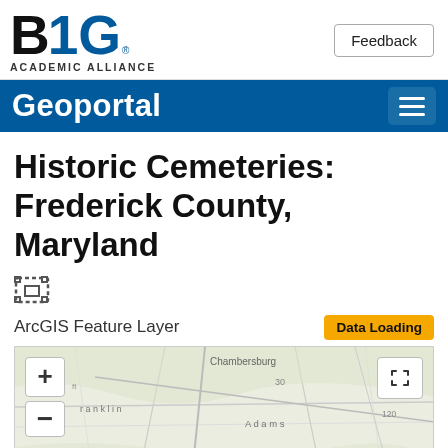[Figure (logo): B1G Academic Alliance logo with blue and black lettering]
Feedback
Geoportal
Historic Cemeteries: Frederick County, Maryland
[Figure (illustration): ArcGIS feature layer icon]
ArcGIS Feature Layer
Data Loading
[Figure (map): Map showing region around Frederick County Maryland including Chambersburg, Adams, Hanover, Franklin areas with zoom controls and fullscreen button]